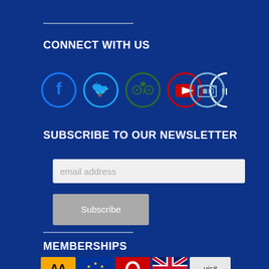CONNECT WITH US
[Figure (infographic): Six social media icons in circles: Facebook (blue), Twitter (cyan), TripAdvisor (green), YouTube (red), LinkedIn (white), and a storefront icon (light blue)]
SUBSCRIBE TO OUR NEWSLETTER
email address (input field)
Subscribe (button)
MEMBERSHIPS
[Figure (infographic): Row of membership logo icons: AA (yellow), EU stars (dark blue), red logo, UK flag, Visit logo]